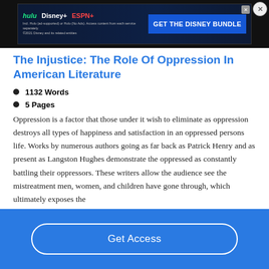[Figure (screenshot): Advertisement banner for Disney Bundle featuring Hulu, Disney+, and ESPN+ logos with 'GET THE DISNEY BUNDLE' call to action on dark blue background]
The Injustice: The Role Of Oppression In American Literature
1132 Words
5 Pages
Oppression is a factor that those under it wish to eliminate as oppression destroys all types of happiness and satisfaction in an oppressed persons life. Works by numerous authors going as far back as Patrick Henry and as present as Langston Hughes demonstrate the oppressed as constantly battling their oppressors. These writers allow the audience see the mistreatment men, women, and children have gone through, which ultimately exposes the
Get Access